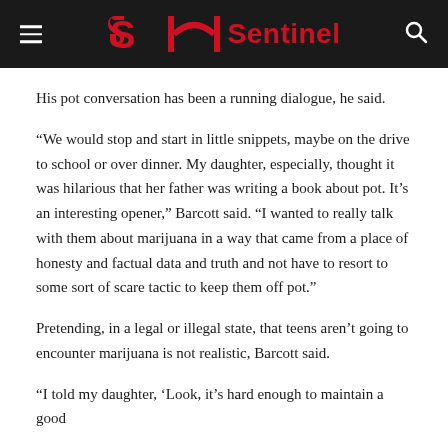Sentinel
His pot conversation has been a running dialogue, he said.
“We would stop and start in little snippets, maybe on the drive to school or over dinner. My daughter, especially, thought it was hilarious that her father was writing a book about pot. It’s an interesting opener,” Barcott said. “I wanted to really talk with them about marijuana in a way that came from a place of honesty and factual data and truth and not have to resort to some sort of scare tactic to keep them off pot.”
Pretending, in a legal or illegal state, that teens aren’t going to encounter marijuana is not realistic, Barcott said.
“I told my daughter, ‘Look, it’s hard enough to maintain a good